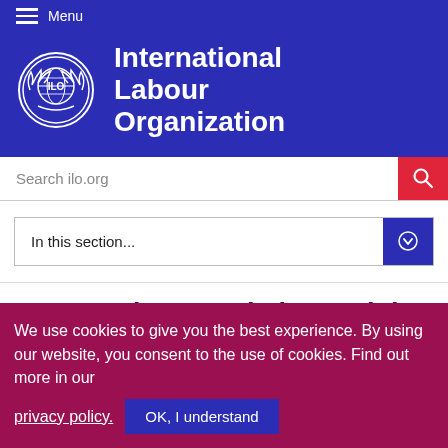Menu
[Figure (logo): ILO logo — globe with gear and laurel wreath, white on blue background, alongside text 'International Labour Organization' in white bold]
Search ilo.org
In this section...
Green Jobs Foundation Training
We use cookies to give you the best experience. By using our website, you consent to the use of cookies. Find out more in our privacy policy.
OK, I understand